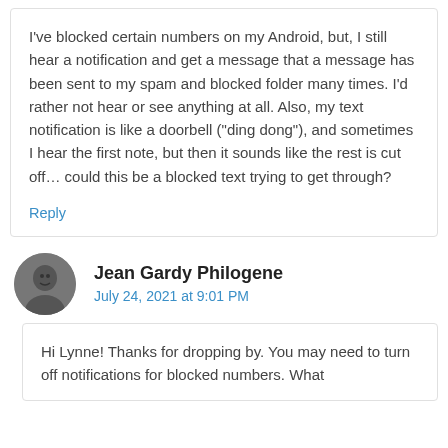I've blocked certain numbers on my Android, but, I still hear a notification and get a message that a message has been sent to my spam and blocked folder many times. I'd rather not hear or see anything at all. Also, my text notification is like a doorbell ("ding dong"), and sometimes I hear the first note, but then it sounds like the rest is cut off... could this be a blocked text trying to get through?
Reply
Jean Gardy Philogene
July 24, 2021 at 9:01 PM
Hi Lynne! Thanks for dropping by. You may need to turn off notifications for blocked numbers. What